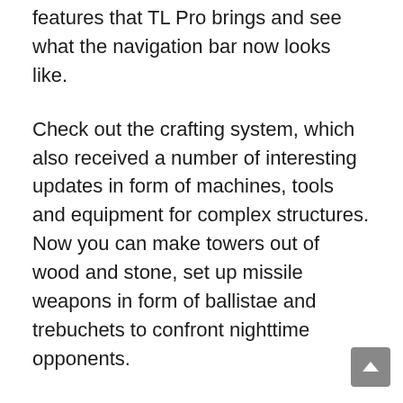features that TL Pro brings and see what the navigation bar now looks like.
Check out the crafting system, which also received a number of interesting updates in form of machines, tools and equipment for complex structures. Now you can make towers out of wood and stone, set up missile weapons in form of ballistae and trebuchets to confront nighttime opponents.
Cheat the menu
TL Pro has a cheat menu, which allows users to turn off or disable cheat features. This is convenient, since players are able to cheat by using a specific cheating mode rather than